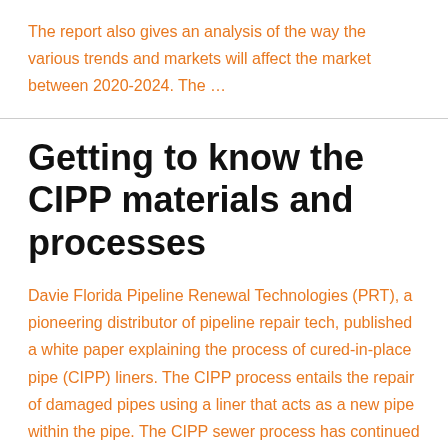The report also gives an analysis of the way the various trends and markets will affect the market between 2020-2024. The …
Getting to know the CIPP materials and processes
Davie Florida Pipeline Renewal Technologies (PRT), a pioneering distributor of pipeline repair tech, published a white paper explaining the process of cured-in-place pipe (CIPP) liners. The CIPP process entails the repair of damaged pipes using a liner that acts as a new pipe within the pipe. The CIPP sewer process has continued to develop and …